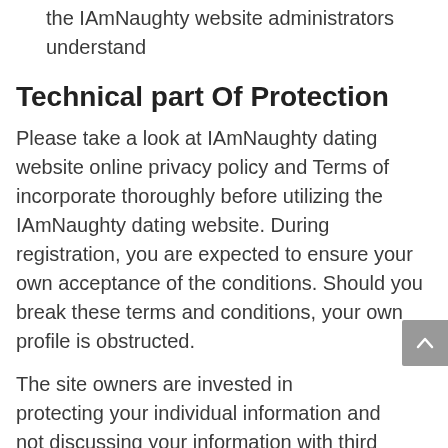the IAmNaughty website administrators understand
Technical part Of Protection
Please take a look at IAmNaughty dating website online privacy policy and Terms of incorporate thoroughly before utilizing the IAmNaughty dating website. During registration, you are expected to ensure your own acceptance of the conditions. Should you break these terms and conditions, your own profile is obstructed.
The site owners are invested in protecting your individual information and not discussing your information with third parties. But please note the administrators for the website cannot control what you send in private emails. Thus, you're in charge of the knowledge you show